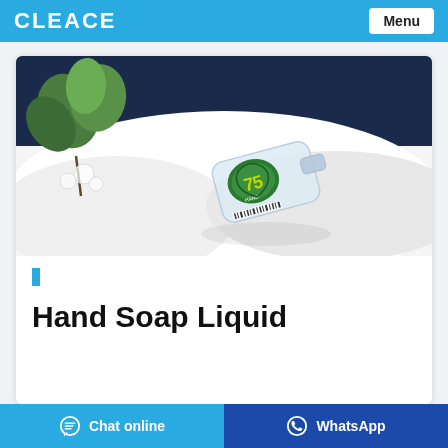CLEACE  Menu
[Figure (photo): Product photo of a clear plastic bottle with a green shield logo showing '75' label, lying on white fabric/cloth surface with a green plant decoration in the background against a dark blue backdrop.]
Hand Soap Liquid
Chat online   WhatsApp